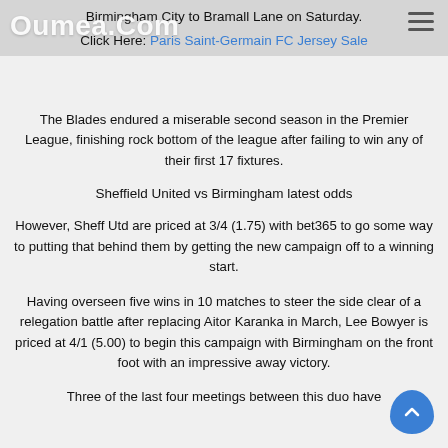Birmingham City to Bramall Lane on Saturday.
Click Here: Paris Saint-Germain FC Jersey Sale
The Blades endured a miserable second season in the Premier League, finishing rock bottom of the league after failing to win any of their first 17 fixtures.
Sheffield United vs Birmingham latest odds
However, Sheff Utd are priced at 3/4 (1.75) with bet365 to go some way to putting that behind them by getting the new campaign off to a winning start.
Having overseen five wins in 10 matches to steer the side clear of a relegation battle after replacing Aitor Karanka in March, Lee Bowyer is priced at 4/1 (5.00) to begin this campaign with Birmingham on the front foot with an impressive away victory.
Three of the last four meetings between this duo have